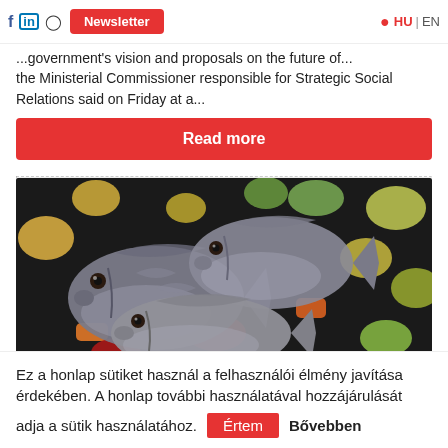f in [instagram] Newsletter HU | EN
...government's vision and proposals on the future of... the Ministerial Commissioner responsible for Strategic Social Relations said on Friday at a...
Read more
[Figure (photo): Photo of whole fish (sea bream/dorade) placed on a bed of chopped colorful vegetables including zucchini, peppers, potatoes, and carrots in a dark roasting pan.]
Ez a honlap sütiket használ a felhasználói élmény javítása érdekében. A honlap további használatával hozzájárulását adja a sütik használatához. Értem  Bővebben